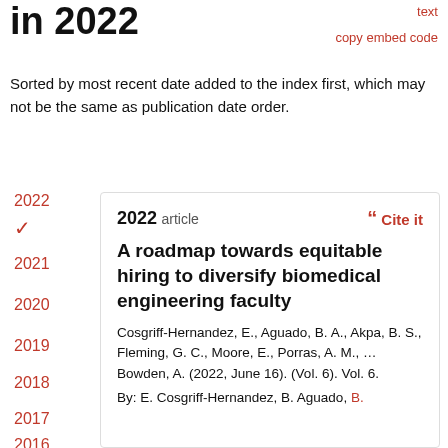in 2022
text
copy embed code
Sorted by most recent date added to the index first, which may not be the same as publication date order.
2022
2021
2020
2019
2018
2017
2016
2022 article
Cite it
A roadmap towards equitable hiring to diversify biomedical engineering faculty
Cosgriff-Hernandez, E., Aguado, B. A., Akpa, B. S., Fleming, G. C., Moore, E., Porras, A. M., … Bowden, A. (2022, June 16). (Vol. 6). Vol. 6.
By: E. Cosgriff-Hernandez, B. Aguado, B.